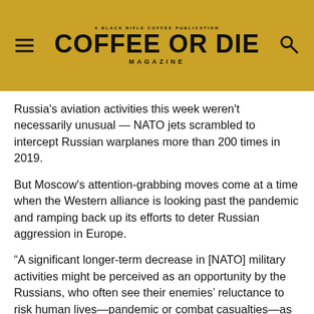COFFEE OR DIE MAGAZINE
Russia's aviation activities this week weren't necessarily unusual — NATO jets scrambled to intercept Russian warplanes more than 200 times in 2019.
But Moscow's attention-grabbing moves come at a time when the Western alliance is looking past the pandemic and ramping back up its efforts to deter Russian aggression in Europe.
“A significant longer-term decrease in [NATO] military activities might be perceived as an opportunity by the Russians, who often see their enemies’ reluctance to risk human lives—pandemic or combat casualties—as their weakness,” said Oleksiy Melnyk, a former Soviet fighter pilot who is now co-director of foreign relations and international security programs at the Kyiv-based Razumkov Center